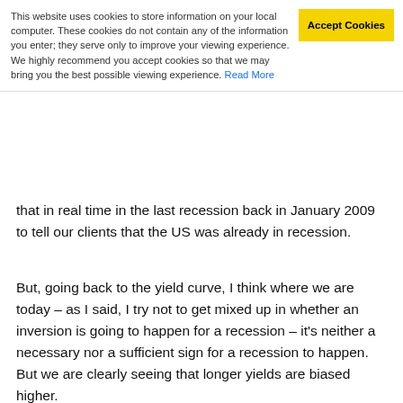This website uses cookies to store information on your local computer. These cookies do not contain any of the information you enter; they serve only to improve your viewing experience. We highly recommend you accept cookies so that we may bring you the best possible viewing experience. Read More
that in real time in the last recession back in January 2009 to tell our clients that the US was already in recession.
But, going back to the yield curve, I think where we are today – as I said, I try not to get mixed up in whether an inversion is going to happen for a recession – it's neither a necessary nor a sufficient sign for a recession to happen. But we are clearly seeing that longer yields are biased higher.
And on Slide 11 we have our fair value model for the US. Now, that's not a prediction of where we expect 10-year yields to go. But the interesting thing to look at there is when the gap is very large. Then it gives you what the direction of travel is likely to be.
And that kind of feels like, again, w[Go to top]oday. Yields had plenty of opportunity earlier in the [year/time] essentially to rally